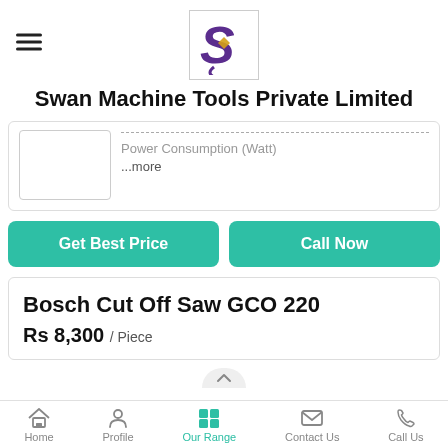[Figure (logo): Swan Machine Tools logo — purple stylized S with golden diamond shape, inside a bordered box]
Swan Machine Tools Private Limited
Power Consumption (Watt)
...more
Get Best Price
Call Now
Bosch Cut Off Saw GCO 220
Rs 8,300 / Piece
Home  Profile  Our Range  Contact Us  Call Us